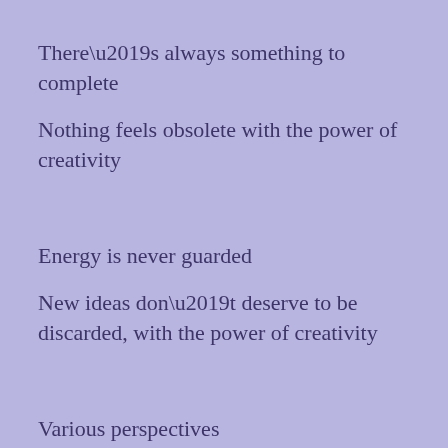There’s always something to complete
Nothing feels obsolete with the power of creativity
Energy is never guarded
New ideas don’t deserve to be discarded, with the power of creativity
Various perspectives
When to all we are respective with the power of